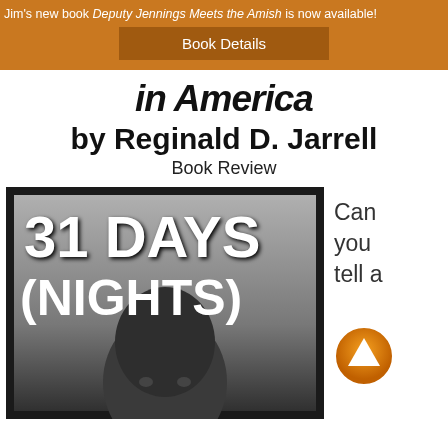Jim's new book Deputy Jennings Meets the Amish is now available!
Book Details
in America
by Reginald D. Jarrell
Book Review
[Figure (photo): Book cover of '31 Days (Nights)' by Reginald D. Jarrell showing bold white text over a black and white photo of a young Black man's face against a gray background]
Can you tell a